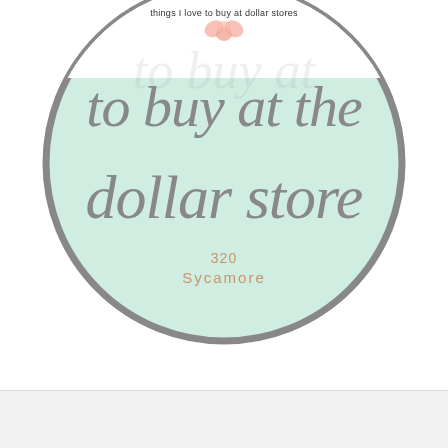[Figure (illustration): A circular badge/logo with a mint green background and gray border. Contains cursive text 'to buy at the dollar store' in large gray script, a small floral/heart element at the top, small text 'things I love to buy at dollar stores' at the top, the number '320' and 'Sycamore' in salmon/peach color at the bottom.]